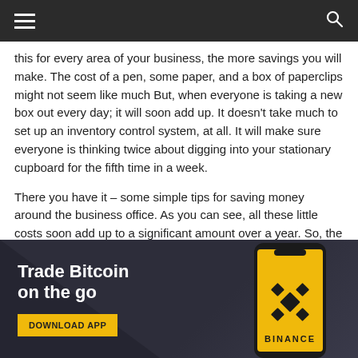[Navigation bar with hamburger menu and search icon]
this for every area of your business, the more savings you will make. The cost of a pen, some paper, and a box of paperclips might not seem like much But, when everyone is taking a new box out every day; it will soon add up. It doesn't take much to set up an inventory control system, at all. It will make sure everyone is thinking twice about digging into your stationary cupboard for the fifth time in a week.
There you have it – some simple tips for saving money around the business office. As you can see, all these little costs soon add up to a significant amount over a year. So, the more you can cut back, the less you will spend, and the better deal you can give to your customers. Happy saving!
[Figure (screenshot): Binance advertisement banner: 'Trade Bitcoin on the go' with a DOWNLOAD APP button and a phone displaying the Binance logo on a yellow background.]